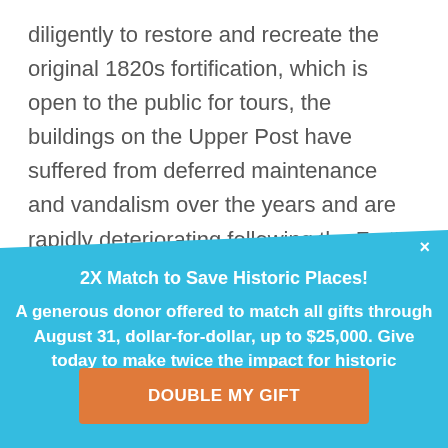diligently to restore and recreate the original 1820s fortification, which is open to the public for tours, the buildings on the Upper Post have suffered from deferred maintenance and vandalism over the years and are rapidly deteriorating following the Fort's decommissioning after World War II. Of the original 312 buildings, only 48 remain today. Seven different
×
2X Match to Save Historic Places!
A generous donor offered to match all gifts through August 31, dollar-for-dollar, up to $25,000. Give today to make twice the impact for historic preservation!
DOUBLE MY GIFT